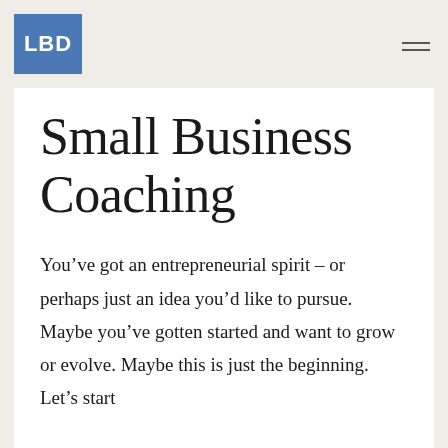LBD
Small Business Coaching
You’ve got an entrepreneurial spirit – or perhaps just an idea you’d like to pursue. Maybe you’ve gotten started and want to grow or evolve. Maybe this is just the beginning. Let’s start